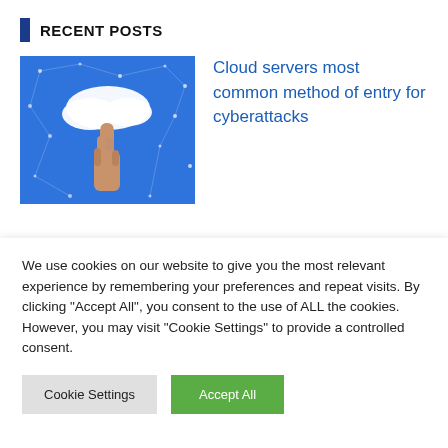RECENT POSTS
[Figure (photo): Hand pointing upward toward a white cloud icon on a blue digital network background with constellation-like connected dots]
Cloud servers most common method of entry for cyberattacks
7 IoT technologies to watch out for in 2023
We use cookies on our website to give you the most relevant experience by remembering your preferences and repeat visits. By clicking "Accept All", you consent to the use of ALL the cookies. However, you may visit "Cookie Settings" to provide a controlled consent.